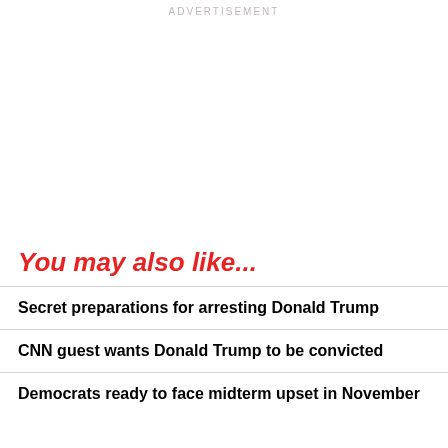ADVERTISEMENT
You may also like...
Secret preparations for arresting Donald Trump
CNN guest wants Donald Trump to be convicted
Democrats ready to face midterm upset in November